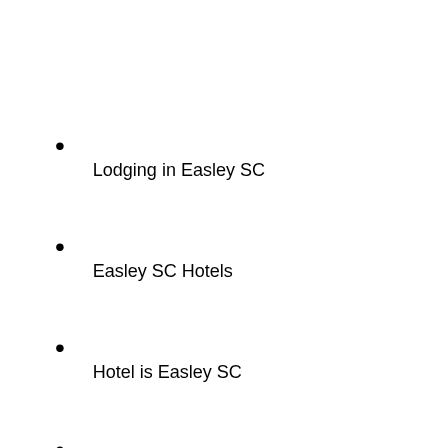Lodging in Easley SC
Easley SC Hotels
Hotel is Easley SC
Romantic Bed & Breakfast in Easley SC